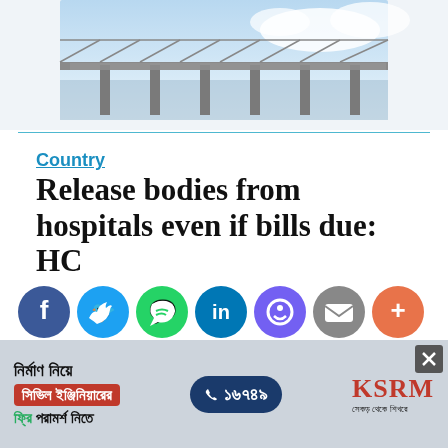[Figure (photo): Bridge over water with blue sky background — newspaper website banner image]
Country
Release bodies from hospitals even if bills due: HC
[Figure (infographic): Social sharing buttons: Facebook, Twitter, WhatsApp, LinkedIn, Viber, Email, More]
Star Online Report
Mon Nov 20, 2017 02:37 PM Last update on: Mon Nov 20, 2017 05:31 PM
[Figure (infographic): Advertisement banner in Bengali for KSRM — civil engineering consultation service, phone number 16749]